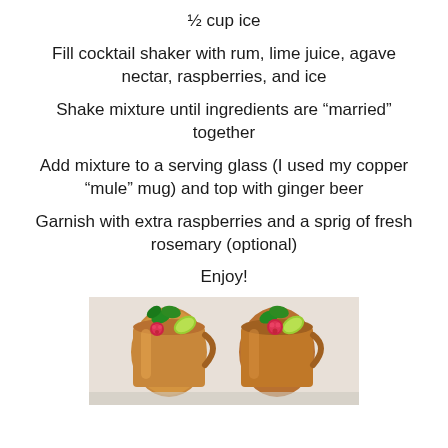½ cup ice
Fill cocktail shaker with rum, lime juice, agave nectar, raspberries, and ice
Shake mixture until ingredients are “married” together
Add mixture to a serving glass (I used my copper “mule” mug) and top with ginger beer
Garnish with extra raspberries and a sprig of fresh rosemary (optional)
Enjoy!
[Figure (photo): Two copper mule mugs garnished with raspberries, lime slices, and fresh mint leaves on a light background]